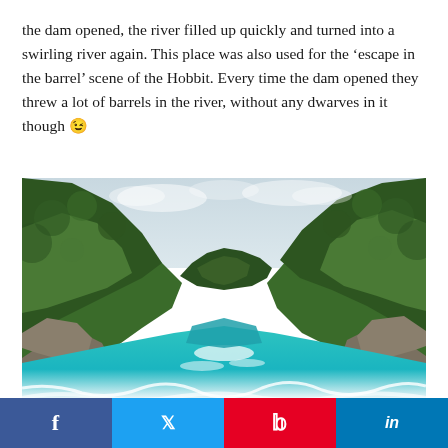the dam opened, the river filled up quickly and turned into a swirling river again. This place was also used for the 'escape in the barrel' scene of the Hobbit. Every time the dam opened they threw a lot of barrels in the river, without any dwarves in it though 😉
[Figure (photo): A wide-angle photograph of a fast-flowing turquoise river cutting through a steep, lush green forested gorge with rocky cliffs on both sides, under an overcast sky.]